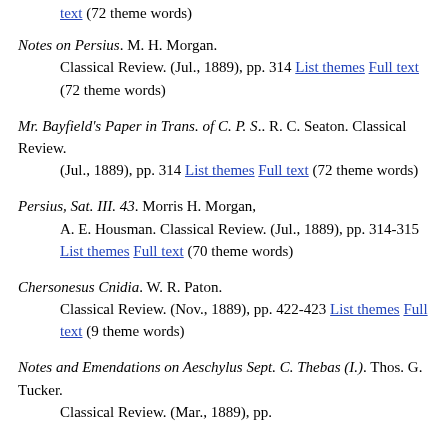text (72 theme words) [partial, top of page]
Notes on Persius. M. H. Morgan. Classical Review. (Jul., 1889), pp. 314 List themes Full text (72 theme words)
Mr. Bayfield's Paper in Trans. of C. P. S.. R. C. Seaton. Classical Review. (Jul., 1889), pp. 314 List themes Full text (72 theme words)
Persius, Sat. III. 43. Morris H. Morgan, A. E. Housman. Classical Review. (Jul., 1889), pp. 314-315 List themes Full text (70 theme words)
Chersonesus Cnidia. W. R. Paton. Classical Review. (Nov., 1889), pp. 422-423 List themes Full text (9 theme words)
Notes and Emendations on Aeschylus Sept. C. Thebas (I.). Thos. G. Tucker. Classical Review. (Mar., 1889), pp.